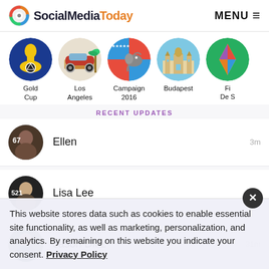SocialMediaToday MENU
[Figure (screenshot): Horizontal scrollable category icons: Gold Cup (soccer/football), Los Angeles (vintage car), Campaign 2016 (Republican elephant), Budapest (parliament building), Fi De S (partially visible, colorful kite)]
RECENT UPDATES
Ellen 3m
Lisa Lee 31m
Jason Diaz 31m
This website stores data such as cookies to enable essential site functionality, as well as marketing, personalization, and analytics. By remaining on this website you indicate your consent. Privacy Policy